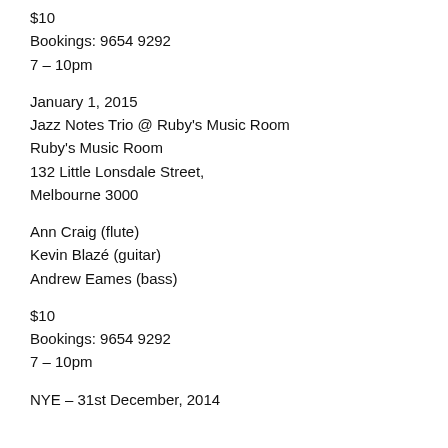$10
Bookings: 9654 9292
7 – 10pm
January 1, 2015
Jazz Notes Trio @ Ruby's Music Room
Ruby's Music Room
132 Little Lonsdale Street,
Melbourne 3000
Ann Craig (flute)
Kevin Blazé (guitar)
Andrew Eames (bass)
$10
Bookings: 9654 9292
7 – 10pm
NYE – 31st December, 2014